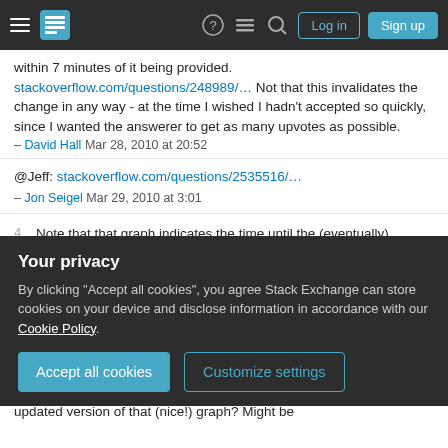Stack Exchange navigation bar with Log in and Sign up buttons
within 7 minutes of it being provided. stackoverflow.com/questions/248989/... Not that this invalidates the change in any way - at the time I wished I hadn't accepted so quickly, since I wanted the answerer to get as many upvotes as possible.
– David Hall Mar 28, 2010 at 20:52
@Jeff: stackoverflow.com/questions/2535516/...
– Jon Seigel Mar 29, 2010 at 3:01
4  Note that that graph indicates the time until the (eventually) accepted answer was posted. I had originally titled it "Time to best answer" to indicate it wasn't the time until the OP clicked "accept", but
Your privacy
By clicking "Accept all cookies", you agree Stack Exchange can store cookies on your device and disclose information in accordance with our Cookie Policy.
Accept all cookies   Customize settings
updated version of that (nice!) graph? Might be